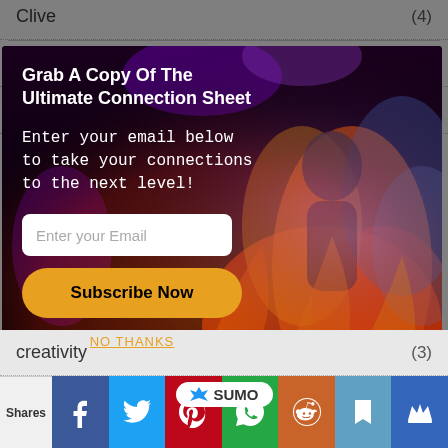Clive (4)
Color (5)
Comfort Zone (1)
[Figure (screenshot): Email subscription modal popup with fire/smoke background image showing two human figures. Contains title 'Grab A Copy Of The Ultimate Connection Sheet', body text 'Enter your email below to take your connections to the next level!', an email input field, a yellow 'Subscribe Now' button, and a 'NO THANKS' link.]
creativity (3)
[Figure (screenshot): Sumo branding badge (crown logo + SUMO text in white pill) and social sharing bar with Facebook, Twitter, Pinterest, WhatsApp, Reddit, bookmark, and crown icons. Shows 'Shares' label on left.]